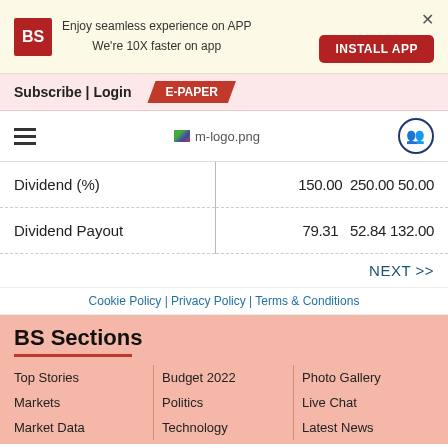[Figure (screenshot): App install banner with BS logo, text 'Enjoy seamless experience on APP We're 10X faster on app', INSTALL APP button, and X close button]
Subscribe | Login   E-PAPER
[Figure (logo): Hamburger menu icon, m-logo.png, and user icon]
|  |  |  |  |
| --- | --- | --- | --- |
| Dividend (%) | 150.00 | 250.00 | 50.00 |
| Dividend Payout | 79.31 | 52.84 | 132.00 |
NEXT >>
Cookie Policy | Privacy Policy | Terms & Conditions
BS Sections
Top Stories
Markets
Market Data
Budget 2022
Politics
Personal Finance
Photo Gallery
Live Chat
Latest News